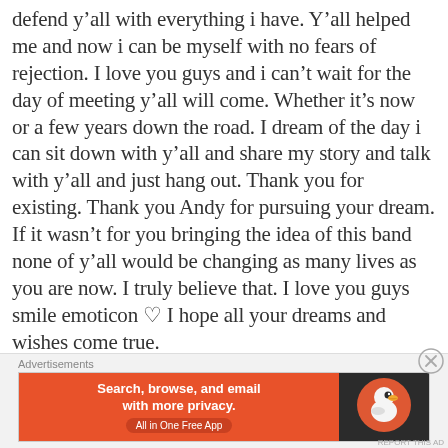defend y’all with everything i have. Y’all helped me and now i can be myself with no fears of rejection. I love you guys and i can’t wait for the day of meeting y’all will come. Whether it’s now or a few years down the road. I dream of the day i can sit down with y’all and share my story and talk with y’all and just hang out. Thank you for existing. Thank you Andy for pursuing your dream. If it wasn’t for you bringing the idea of this band none of y’all would be changing as many lives as you are now. I truly believe that. I love you guys smile emoticon ♡ I hope all your dreams and wishes come true.
-Dakota Decker (@biersackbunny_babygirl)
Advertisements
[Figure (other): DuckDuckGo advertisement banner: orange left panel with text 'Search, browse, and email with more privacy. All in One Free App' and dark right panel with DuckDuckGo duck logo.]